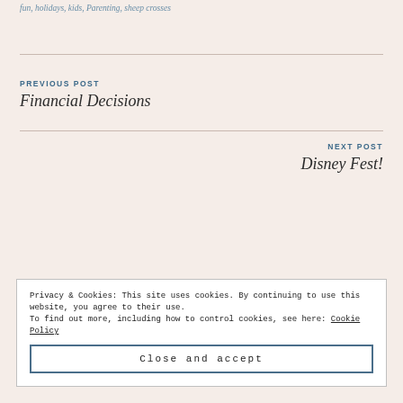fun, holidays, kids, Parenting, sheep crosses
PREVIOUS POST
Financial Decisions
NEXT POST
Disney Fest!
Privacy & Cookies: This site uses cookies. By continuing to use this website, you agree to their use.
To find out more, including how to control cookies, see here: Cookie Policy
Close and accept